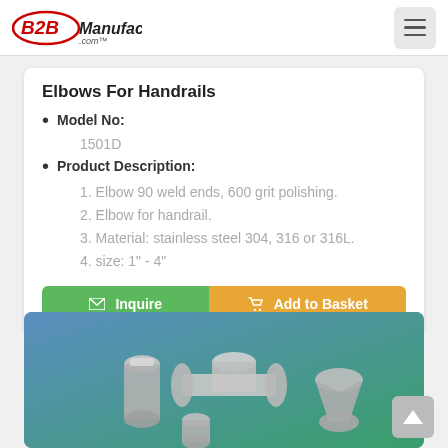B2BManufactures.com
Elbows For Handrails
Model No:
1501D
Product Description:
1. Elbow 90 weld ends, 600 grit polishing.
2. Elbow for handrail.
3. Material: stainless steel 304, 316 or 316L.
4. size: 1" - 4"
[Figure (photo): Photo of stainless steel pipe fittings including elbows and tees on a gradient blue-green background]